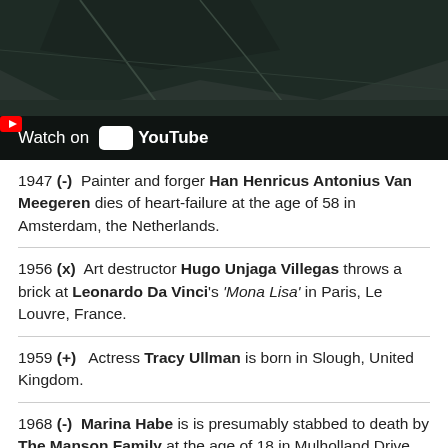[Figure (screenshot): Dark screenshot from a YouTube video showing what appears to be a dimly lit interior. A 'Watch on YouTube' button overlay is visible at the bottom left.]
1947 (-) Painter and forger Han Henricus Antonius Van Meegeren dies of heart-failure at the age of 58 in Amsterdam, the Netherlands.
1956 (x) Art destructor Hugo Unjaga Villegas throws a brick at Leonardo Da Vinci's 'Mona Lisa' in Paris, Le Louvre, France.
1959 (+) Actress Tracy Ullman is born in Slough, United Kingdom.
1968 (-) Marina Habe is is presumably stabbed to death by The Manson Family at the age of 18 in Mulholland Drive, California, USA.